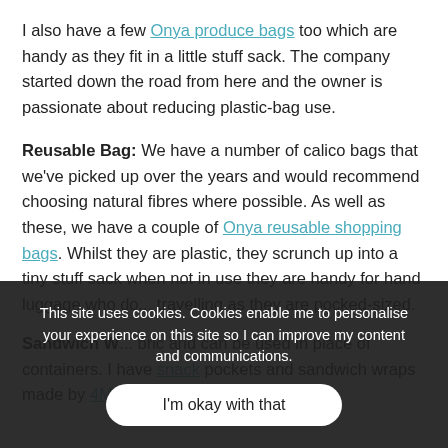I also have a few Onya produce bags too which are handy as they fit in a little stuff sack. The company started down the road from here and the owner is passionate about reducing plastic-bag use.

Reusable Bag: We have a number of calico bags that we've picked up over the years and would recommend choosing natural fibres where possible. As well as these, we have a couple of Onya reusable shopping bags. Whilst they are plastic, they scrunch up into a tiny stuff sack when not in use they are handy for hand luggage who do... travelling as they are pocked-sized.

Sandwich W... bric and can be used in place of containers. I have snack pockets and sandwich wraps made by 4MyEarth, a
This site uses cookies. Cookies enable me to personalise your experience on this site so I can improve my content and communications.

I'm okay with that